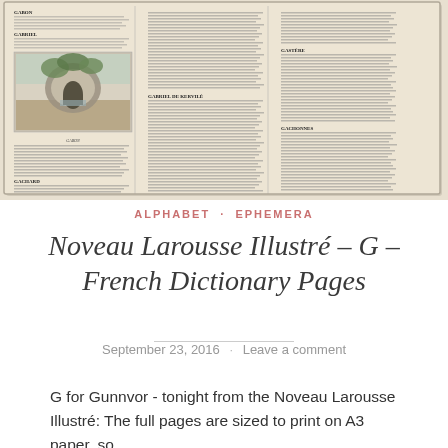[Figure (photo): Scanned page from Noveau Larousse Illustré French dictionary, showing columns of French dictionary text with an embedded black and white illustration of a stone structure or grotto in a landscape.]
ALPHABET · EPHEMERA
Noveau Larousse Illustré – G – French Dictionary Pages
September 23, 2016 · Leave a comment
G for Gunnvor - tonight from the Noveau Larousse Illustré: The full pages are sized to print on A3 paper, so